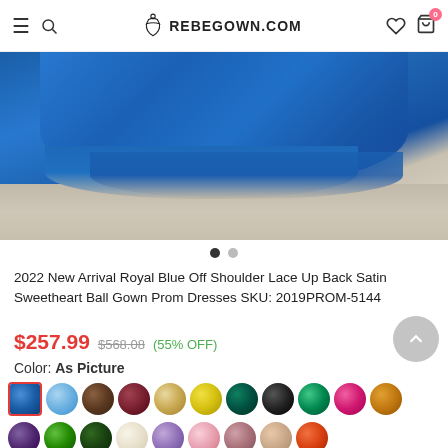REBEGOWN.COM
[Figure (photo): Royal blue satin ball gown dress fabric spread on a light wood floor, showing the bottom hem and flowing fabric in deep royal blue color.]
2022 New Arrival Royal Blue Off Shoulder Lace Up Back Satin Sweetheart Ball Gown Prom Dresses SKU: 2019PROM-5144
$257.99  $568.08  (55% OFF)
Color: As Picture